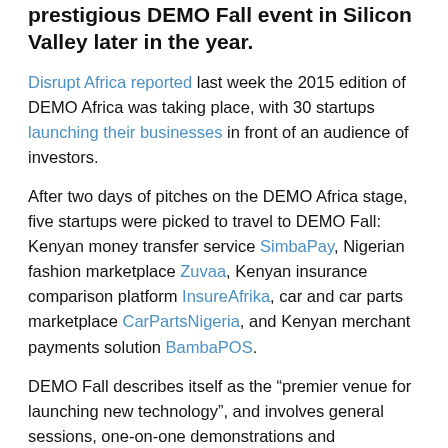prestigious DEMO Fall event in Silicon Valley later in the year.
Disrupt Africa reported last week the 2015 edition of DEMO Africa was taking place, with 30 startups launching their businesses in front of an audience of investors.
After two days of pitches on the DEMO Africa stage, five startups were picked to travel to DEMO Fall: Kenyan money transfer service SimbaPay, Nigerian fashion marketplace Zuvaa, Kenyan insurance comparison platform InsureAfrika, car and car parts marketplace CarPartsNigeria, and Kenyan merchant payments solution BambaPOS.
DEMO Fall describes itself as the “premier venue for launching new technology”, and involves general sessions, one-on-one demonstrations and networking. Last year, Nigerian online SME marketing platform SpacePointe, Nigerian device manufacturer